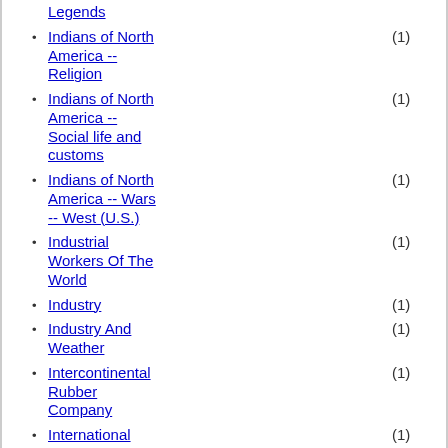Legends
Indians of North America -- Religion (1)
Indians of North America -- Social life and customs (1)
Indians of North America -- Wars -- West (U.S.) (1)
Industrial Workers Of The World (1)
Industry (1)
Industry And Weather (1)
Intercontinental Rubber Company (1)
International Relations (1)
Internment Camps (1)
Inventions (1)
Invoices (1)
Irish (1)
Irrigation (1)